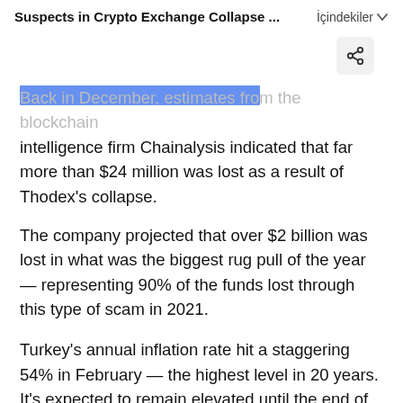Suspects in Crypto Exchange Collapse ... İçindekiler
Back in December, estimates from the blockchain intelligence firm Chainalysis indicated that far more than $24 million was lost as a result of Thodex's collapse.
The company projected that over $2 billion was lost in what was the biggest rug pull of the year — representing 90% of the funds lost through this type of scam in 2021.
Turkey's annual inflation rate hit a staggering 54% in February — the highest level in 20 years. It's expected to remain elevated until the end of this year as a collapse in the value of the lira, coupled with spiraling energy prices, inflict pain on everyday consumers...